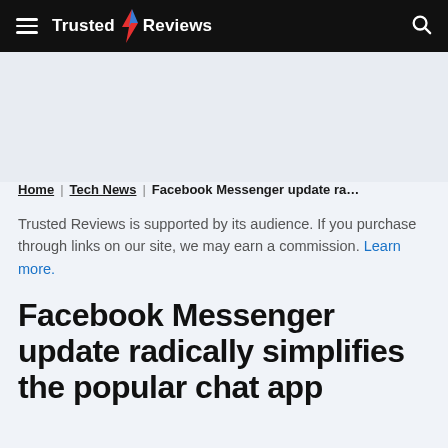Trusted Reviews
Trusted Reviews is supported by its audience. If you purchase through links on our site, we may earn a commission. Learn more.
Home | Tech News | Facebook Messenger update ra...
Facebook Messenger update radically simplifies the popular chat app